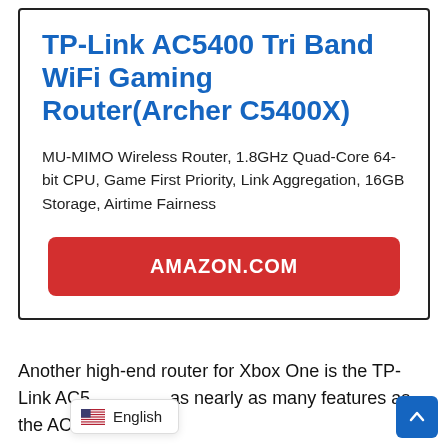TP-Link AC5400 Tri Band WiFi Gaming Router(Archer C5400X)
MU-MIMO Wireless Router, 1.8GHz Quad-Core 64-bit CPU, Game First Priority, Link Aggregation, 16GB Storage, Airtime Fairness
[Figure (other): Red button linking to Amazon.com]
Another high-end router for Xbox One is the TP-Link AC5... as nearly as many features as the AC5...